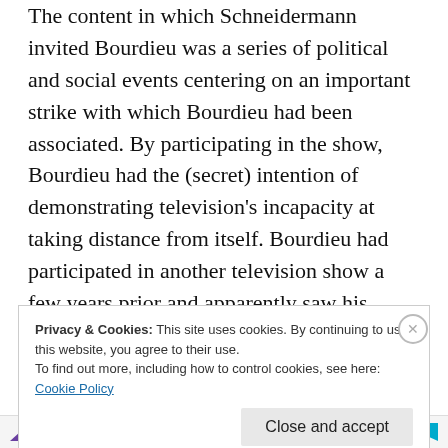The content in which Schneidermann invited Bourdieu was a series of political and social events centering on an important strike with which Bourdieu had been associated. By participating in the show, Bourdieu had the (secret) intention of demonstrating television's incapacity at taking distance from itself. Bourdieu had participated in another television show a few years prior and apparently saw his presence on a television set as an occasion to experiment with some
Privacy & Cookies: This site uses cookies. By continuing to use this website, you agree to their use.
To find out more, including how to control cookies, see here:
Cookie Policy
Close and accept